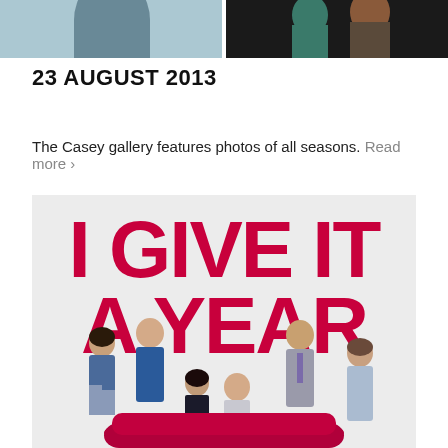[Figure (photo): Two photos side by side at the top of the page: left shows a person in a grey/blue background, right shows two people in a dark background]
23 AUGUST 2013
The Casey gallery features photos of all seasons. Read more >
[Figure (photo): Movie poster for 'I Give It A Year' showing bold red text with the film title and cast of six people posed in front of it on a light grey background]